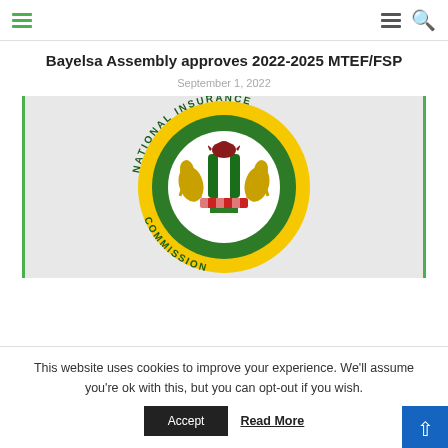Navigation bar with hamburger menu (left, green), hamburger menu and search icon (right)
Bayelsa Assembly approves 2022-2025 MTEF/FSP
September 1, 2022
[Figure (logo): National Insurance Commission (NAICOM) circular seal/logo with Nigerian coat of arms in centre, yellow and green colours, horses on either side of a central shield with eagle, on green background inside yellow ring with text 'NATIONAL INSURANCE COMMISSION']
This website uses cookies to improve your experience. We'll assume you're ok with this, but you can opt-out if you wish.